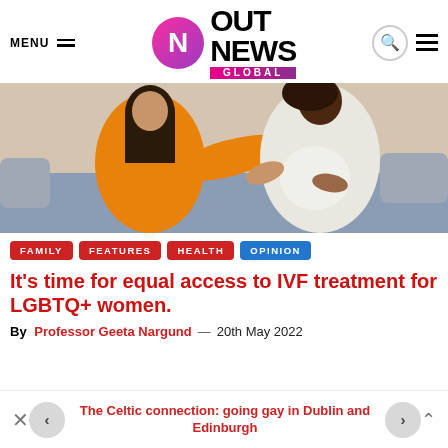Out News Global
[Figure (photo): Two women sitting on a couch together, one wearing an orange sweater and one wearing a white robe, appearing to touch the pregnant belly of the woman in white.]
FAMILY
FEATURES
HEALTH
OPINION
It's time for equal access to IVF treatment for LGBTQ+ women.
By Professor Geeta Nargund — 20th May 2022
The Celtic connection: going gay in Dublin and Edinburgh